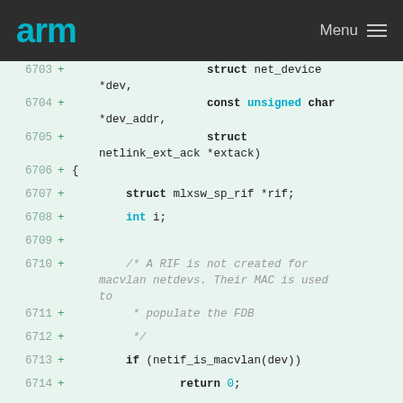arm   Menu
Code diff showing lines 6703-6714 of a C source file with additions marked by +
6703 + struct net_device *dev,
6704 + const unsigned char *dev_addr,
6705 + struct netlink_ext_ack *extack)
6706 + {
6707 + struct mlxsw_sp_rif *rif;
6708 + int i;
6709 +
6710 + /* A RIF is not created for macvlan netdevs. Their MAC is used to
6711 + * populate the FDB
6712 + */
6713 + if (netif_is_macvlan(dev))
6714 + return 0;